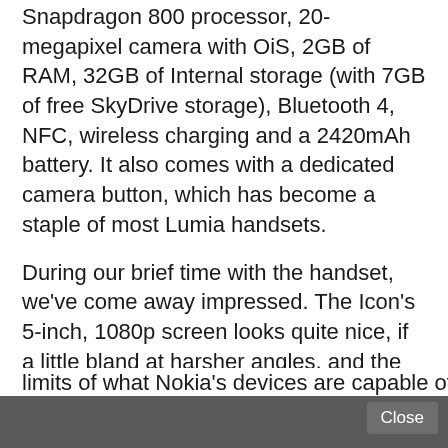will have Windows Phone fans fawning: Snapdragon 800 processor, 20-megapixel camera with OIS, 2GB of RAM, 32GB of Internal storage (with 7GB of free SkyDrive storage), Bluetooth 4, NFC, wireless charging and a 2420mAh battery. It also comes with a dedicated camera button, which has become a staple of most Lumia handsets.
During our brief time with the handset, we've come away impressed. The Icon's 5-inch, 1080p screen looks quite nice, if a little bland at harsher angles, and the delicate curve on the screen makes swiping and tapping a breeze. We haven't been able to put the Icon's camera to the test just yet, though it does have access to Nokia's excellent portfolio of camera apps, which help push the limits of what Nokia's devices are capable of